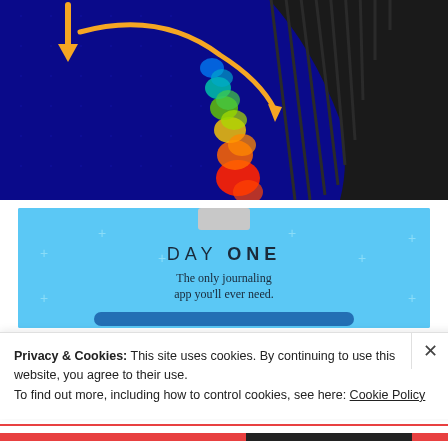[Figure (engineering-diagram): CFD simulation visualization showing a turbine blade or aerodynamic surface with heat/pressure color map (blue background with orange/yellow/green/red gradient on the surface), orange arrow indicating flow direction downward and curved arrow showing flow around the object]
[Figure (illustration): Advertisement banner for 'DAY ONE' journaling app on a light blue background with decorative plus signs, showing app icon tab at top, text 'DAY ONE - The only journaling app you'll ever need.']
Privacy & Cookies: This site uses cookies. By continuing to use this website, you agree to their use.
To find out more, including how to control cookies, see here: Cookie Policy